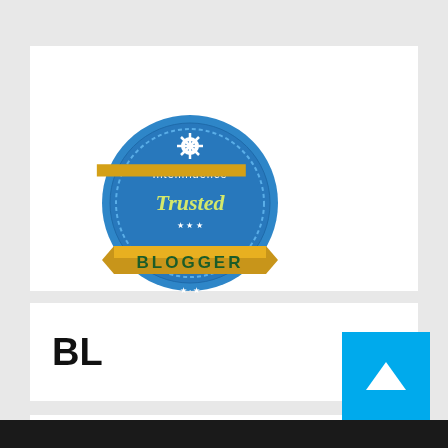[Figure (logo): Intellifluence Trusted Blogger badge - circular blue badge with gold ribbon banner at bottom reading BLOGGER]
BL
TL
buy pbn links